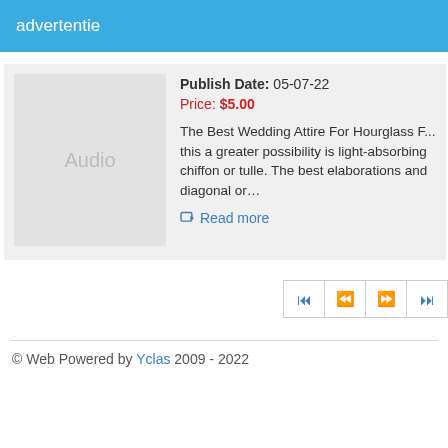advertentie
Publish Date: 05-07-22
Price: $5.00
The Best Wedding Attire For Hourglass F... this a greater possibility is light-absorbing chiffon or tulle. The best elaborations and diagonal or…
Read more
[Figure (other): Pagination control with first, previous, next, last buttons]
© Web Powered by Yclas 2009 - 2022